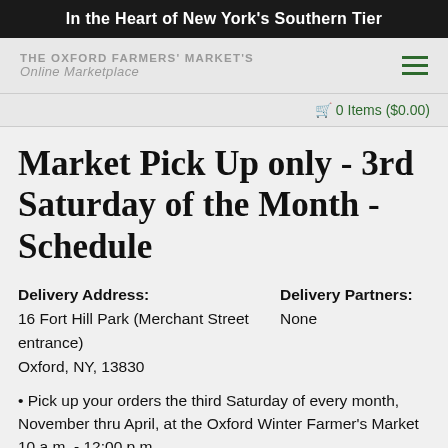In the Heart of New York's Southern Tier
THE OXFORD FARMERS' MARKET'S Online Marketplace
0 Items ($0.00)
Market Pick Up only - 3rd Saturday of the Month - Schedule
Delivery Address:
16 Fort Hill Park (Merchant Street entrance)
Oxford, NY, 13830
Delivery Partners:
None
• Pick up your orders the third Saturday of every month, November thru April, at the Oxford Winter Farmer's Market 10 a.m. - 12:00 p.m.